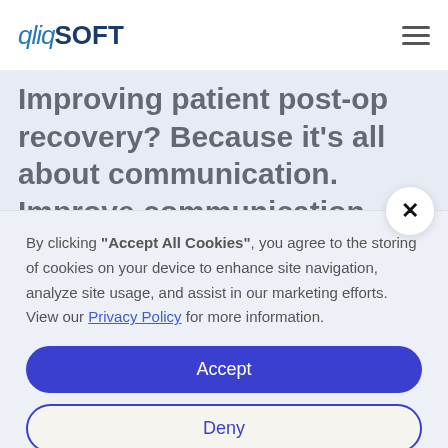qliqSOFT
Improving patient post-op recovery? Because it's all about communication. Improve communication, enhance outcomes. Program
By clicking "Accept All Cookies", you agree to the storing of cookies on your device to enhance site navigation, analyze site usage, and assist in our marketing efforts. View our Privacy Policy for more information.
Accept
Deny
Preferences